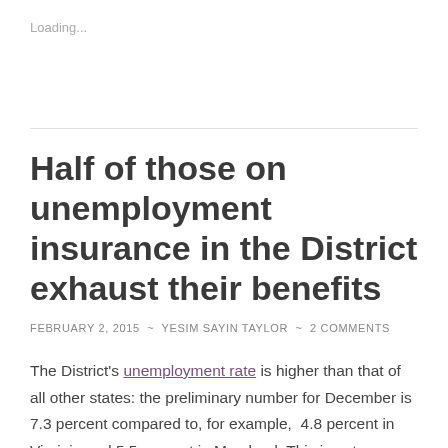Loading...
Half of those on unemployment insurance in the District exhaust their benefits
FEBRUARY 2, 2015 ~ YESIM SAYIN TAYLOR ~ 2 COMMENTS
The District's unemployment rate is higher than that of all other states: the preliminary number for December is 7.3 percent compared to, for example, 4.8 percent in Virginia and 5.5 percent in Maryland. This is not very unusual given that we are an entirely urban jurisdiction. Perhaps for this reason, the demands on the District's